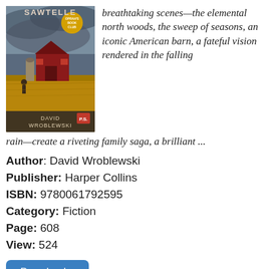[Figure (photo): Book cover of 'Sawtelle' by David Wroblewski, an Oprah Book Club pick, showing a red barn in a field with a figure and stormy sky.]
breathtaking scenes—the elemental north woods, the sweep of seasons, an iconic American barn, a fateful vision rendered in the falling rain—create a riveting family saga, a brilliant ...
Author: David Wroblewski
Publisher: Harper Collins
ISBN: 9780061792595
Category: Fiction
Page: 608
View: 524
Download »